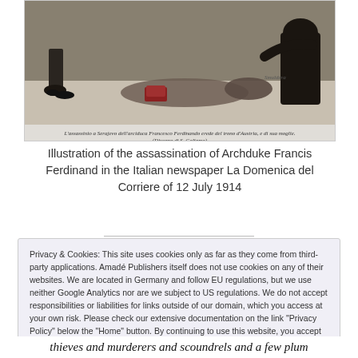[Figure (illustration): Illustration of the assassination of Archduke Francis Ferdinand, a historical newspaper illustration showing figures and a fallen person]
Illustration of the assassination of Archduke Francis Ferdinand in the Italian newspaper La Domenica del Corriere of 12 July 1914
Privacy & Cookies: This site uses cookies only as far as they come from third-party applications. Amadé Publishers itself does not use cookies on any of their websites. We are located in Germany and follow EU regulations, but we use neither Google Analytics nor are we subject to US regulations. We do not accept responsibilities or liabilities for links outside of our domain, which you access at your own risk. Please check our extensive documentation on the link "Privacy Policy" below the "Home" button. By continuing to use this website, you accept our conditions and agree to our policy ("I accept").
Privacy Policy
thieves and murderers and scoundrels and a few plum